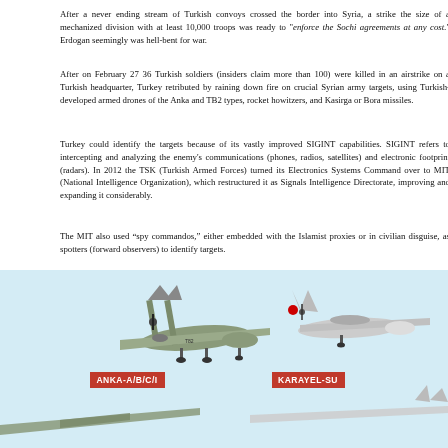After a never ending stream of Turkish convoys crossed the border into Syria, a strike the size of a mechanized division with at least 10,000 troops was ready to "enforce the Sochi agreements at any cost." Erdogan seemingly was hell-bent for war.
After on February 27 36 Turkish soldiers (insiders claim more than 100) were killed in an airstrike on a Turkish headquarter, Turkey retributed by raining down fire on crucial Syrian army targets, using Turkish-developed armed drones of the Anka and TB2 types, rocket howitzers, and Kasirga or Bora missiles.
Turkey could identify the targets because of its vastly improved SIGINT capabilities. SIGINT refers to intercepting and analyzing the enemy's communications (phones, radios, satellites) and electronic footprint (radars). In 2012 the TSK (Turkish Armed Forces) turned its Electronics Systems Command over to MIT (National Intelligence Organization), which restructured it as Signals Intelligence Directorate, improving and expanding it considerably.
The MIT also used “spy commandos,” either embedded with the Islamist proxies or in civilian disguise, as spotters (forward observers) to identify targets.
[Figure (photo): Image showing two Turkish military drones on a light blue background. Left drone is labeled ANKA-A/B/C/I, right drone is labeled KARAYEL-SU. Two more drones are partially visible at the bottom of the image.]